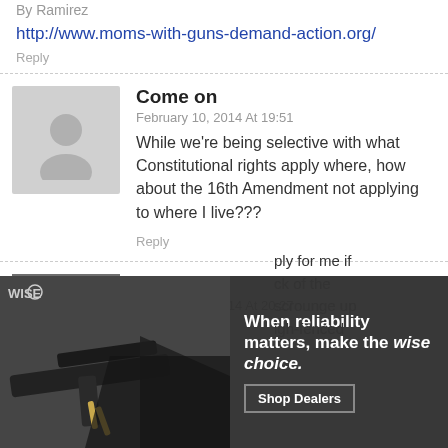By Ramirez
http://www.moms-with-guns-demand-action.org/
Reply
Come on
February 10, 2014 At 19:51
While we're being selective with what Constitutional rights apply where, how about the 16th Amendment not applying to where I live???
Reply
Hank
February 10, 2014 At 20:27
[Figure (photo): Advertisement for WISE brand showing AR-style rifle with text: When reliability matters, make the wise choice. Shop Dealers]
ply for me if ck of the scrounge up igh-fenced